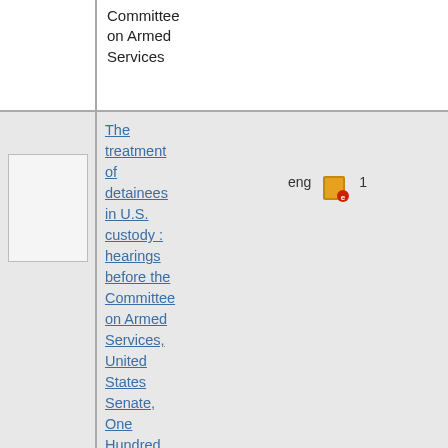Committee on Armed Services
The treatment of detainees in U.S. custody : hearings before the Committee on Armed Services, United States Senate, One Hundred Tenth Congress, second session, June 17 and September 25, 2008
[Figure (other): Book thumbnail placeholder image]
eng
[Figure (other): Orange book icon with 'e' label]
1